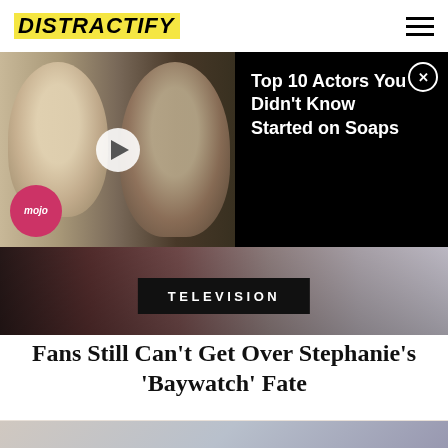DISTRACTIFY
[Figure (screenshot): Video ad banner showing two male actors side by side with play button and WatchMojo logo on left, black background on right with text 'Top 10 Actors You Didn't Know Started on Soaps' and close button]
Top 10 Actors You Didn't Know Started on Soaps
TELEVISION
Fans Still Can't Get Over Stephanie's 'Baywatch' Fate
[Figure (photo): Bottom portion of article showing two people (actors from Baywatch) against a sky background]